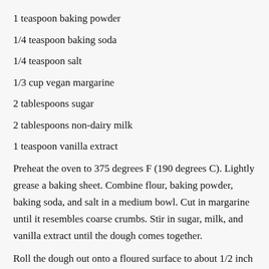1 teaspoon baking powder
1/4 teaspoon baking soda
1/4 teaspoon salt
1/3 cup vegan margarine
2 tablespoons sugar
2 tablespoons non-dairy milk
1 teaspoon vanilla extract
Preheat the oven to 375 degrees F (190 degrees C). Lightly grease a baking sheet. Combine flour, baking powder, baking soda, and salt in a medium bowl. Cut in margarine until it resembles coarse crumbs. Stir in sugar, milk, and vanilla extract until the dough comes together.
Roll the dough out onto a floured surface to about 1/2 inch thickness. Cut out biscuits with a biscuit cutter or a glass. Place biscuits on the prepared baking sheet. Bake for 10